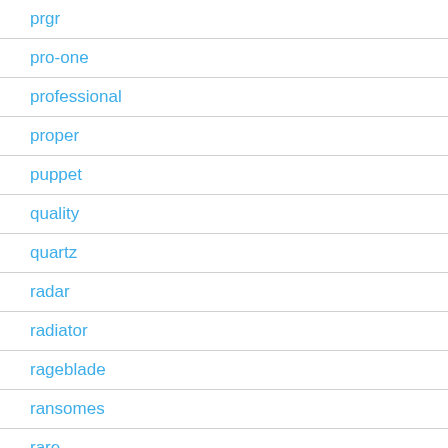prgr
pro-one
professional
proper
puppet
quality
quartz
radar
radiator
rageblade
ransomes
rare
razor